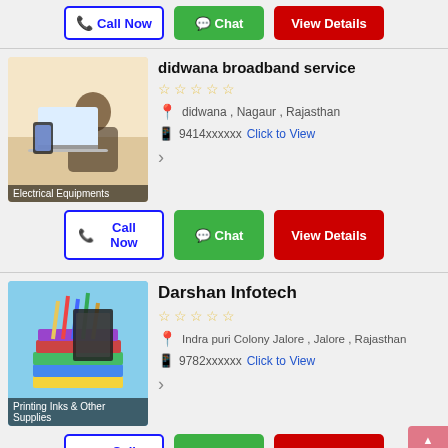[Figure (screenshot): Top action buttons: Call Now (blue outline), Chat (green), View Details (red)]
didwana broadband service
didwana , Nagaur , Rajasthan
9414xxxxxx  Click to View
[Figure (photo): Person using laptop/tablet, label: Electrical Equipments]
Call Now | Chat | View Details
Darshan Infotech
Indra puri Colony Jalore , Jalore , Rajasthan
9782xxxxxx  Click to View
[Figure (photo): Colored books and pencils, label: Printing Inks & Other Supplies]
Call Now | Chat | View Details
onestop